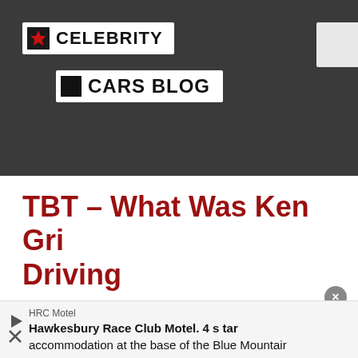[Figure (logo): Celebrity Cars Blog logo with red star icon on dark grey header bar]
TBT – What Was Ken Griffey Jr. Driving
8 COMMENTS · WHAT DO YOU THINK? LEAVE A COMMENT...
I don't know enough about old school BMWs but I'm guessing our readers will be able to figure it out for us. Help us solve this for Ken Griffey Jr. who had a great moped-driving cameo in Macklemore's new Downtown music video.
HRC Motel
Hawkesbury Race Club Motel. 4 star accommodation at the base of the Blue Mountain